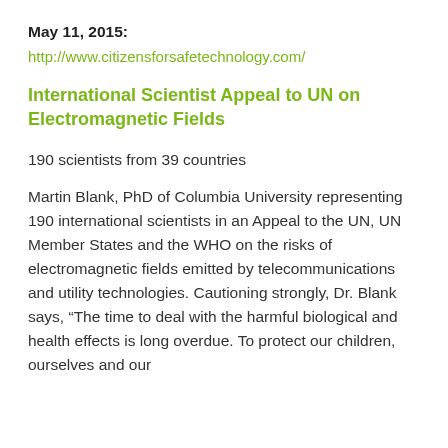May 11, 2015:
http://www.citizensforsafetechnology.com/
International Scientist Appeal to UN on Electromagnetic Fields
190 scientists from 39 countries
Martin Blank, PhD of Columbia University representing 190 international scientists in an Appeal to the UN, UN Member States and the WHO on the risks of electromagnetic fields emitted by telecommunications and utility technologies. Cautioning strongly, Dr. Blank says, “The time to deal with the harmful biological and health effects is long overdue. To protect our children, ourselves and our